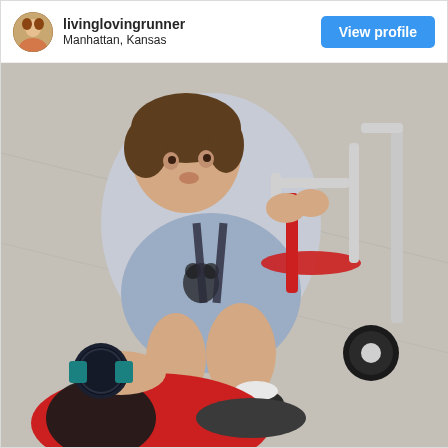livinglovingrunner
Manhattan, Kansas
[Figure (photo): Instagram post header with circular avatar photo of a person running, username 'livinglovingrunner', location 'Manhattan, Kansas', and a blue 'View profile' button]
[Figure (photo): Overhead photo of a young toddler boy sitting on a red tricycle/bike on a sidewalk, wearing a light blue Mickey Mouse shirt and dark sneakers. An adult's hands are visible at the bottom, wearing red leggings and black shoes, with a dark circular smartwatch (Garmin) on their wrist.]